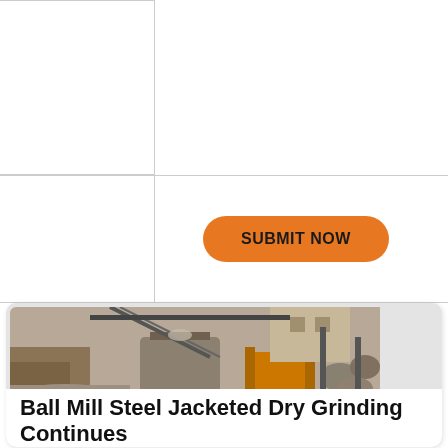[Figure (other): Orange rounded rectangle button with bold uppercase text 'SUBMIT NOW' on a white form background with table grid lines]
[Figure (photo): Outdoor mining or quarry site with industrial crushing/grinding machinery, steel structures, conveyor systems, piles of crushed gravel/stone, and a building in the background]
Ball Mill Steel Jacketed Dry Grinding Continues